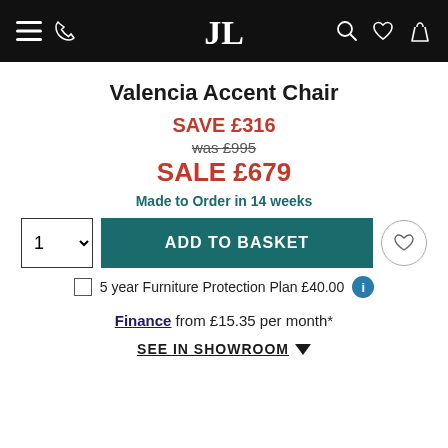JL — navigation header with menu, phone, logo, search, wishlist, basket
Valencia Accent Chair
SAVE £316
was £995
SALE £679
Made to Order in 14 weeks
ADD TO BASKET
5 year Furniture Protection Plan £40.00
Finance from £15.35 per month*
SEE IN SHOWROOM